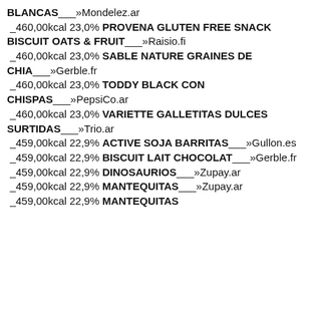BLANCAS___»Mondelez.ar
_460,00kcal 23,0% PROVENA GLUTEN FREE SNACK BISCUIT OATS & FRUIT___»Raisio.fi
_460,00kcal 23,0% SABLE NATURE GRAINES DE CHIA___»Gerble.fr
_460,00kcal 23,0% TODDY BLACK CON CHISPAS___»PepsiCo.ar
_460,00kcal 23,0% VARIETTE GALLETITAS DULCES SURTIDAS___»Trio.ar
_459,00kcal 22,9% ACTIVE SOJA BARRITAS___»Gullon.es
_459,00kcal 22,9% BISCUIT LAIT CHOCOLAT___»Gerble.fr
_459,00kcal 22,9% DINOSAURIOS___»Zupay.ar
_459,00kcal 22,9% MANTEQUITAS___»Zupay.ar
_459,00kcal 22,9% MANTEQUITAS